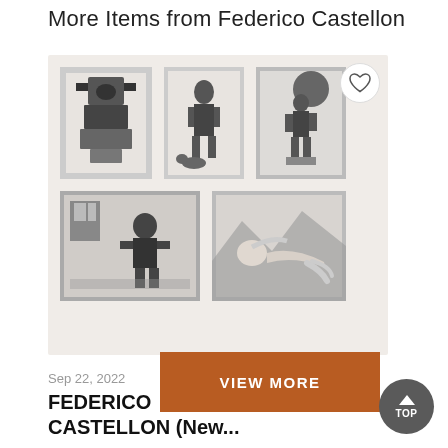More Items from Federico Castellon
[Figure (photo): A composite image of five black-and-white artworks by Federico Castellon arranged in a grid: three on top row and two on bottom row, on a light beige background. A heart/favorite button appears in the top-right corner of the composite.]
Sep 22, 2022
FEDERICO CASTELLON (New...
$150
VIEW MORE
TOP